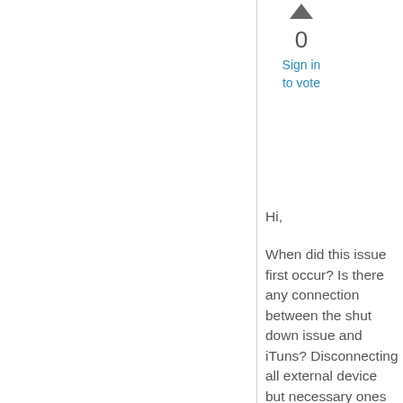[Figure (other): Upward-pointing triangle vote arrow icon]
0
Sign in
to vote
Hi,
When did this issue first occur? Is there any connection between the shut down issue and iTuns? Disconnecting all external device but necessary ones (Mouse and keyboard) and shut down again.
Try system restore if this issue occurs recently.
Where did you download the iTunes? Make sure it is the proper edition.
I will suggest test the issue in